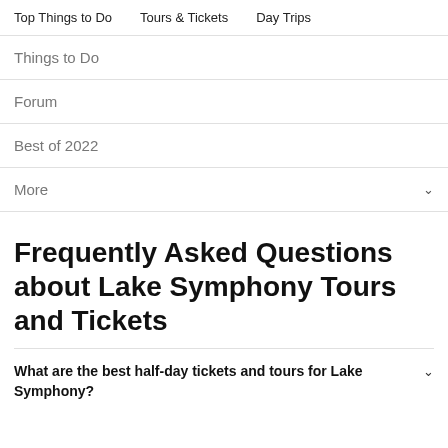Top Things to Do   Tours & Tickets   Day Trips
Things to Do
Forum
Best of 2022
More
Frequently Asked Questions about Lake Symphony Tours and Tickets
What are the best half-day tickets and tours for Lake Symphony?